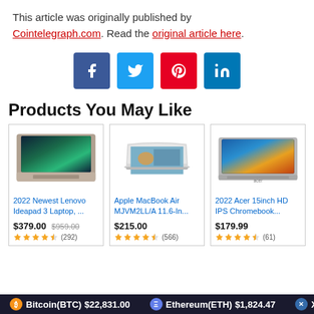This article was originally published by Cointelegraph.com. Read the original article here.
[Figure (other): Social media share buttons: Facebook (blue), Twitter (light blue), Pinterest (red), LinkedIn (blue)]
Products You May Like
[Figure (other): Product card: 2022 Newest Lenovo Ideapad 3 Laptop, ... $379.00 (was $959.00), 4.5 stars (292 reviews)]
[Figure (other): Product card: Apple MacBook Air MJVM2LL/A 11.6-In... $215.00, 4.5 stars (566 reviews)]
[Figure (other): Product card: 2022 Acer 15inch HD IPS Chromebook... $179.99, 4.5 stars (61 reviews)]
Bitcoin(BTC) $22,831.00   Ethereum(ETH) $1,824.47   XRP